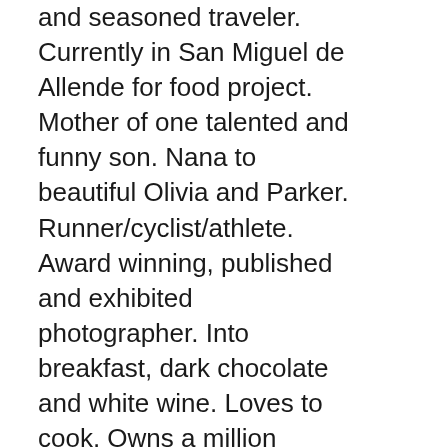and seasoned traveler. Currently in San Miguel de Allende for food project. Mother of one talented and funny son. Nana to beautiful Olivia and Parker. Runner/cyclist/athlete. Award winning, published and exhibited photographer. Into breakfast, dark chocolate and white wine. Loves to cook. Owns a million swimsuits. Sings in the shower. Blows bubbles and follows shooting stars. St Maarten is my “leave me there” place. There is nothing better than running up the